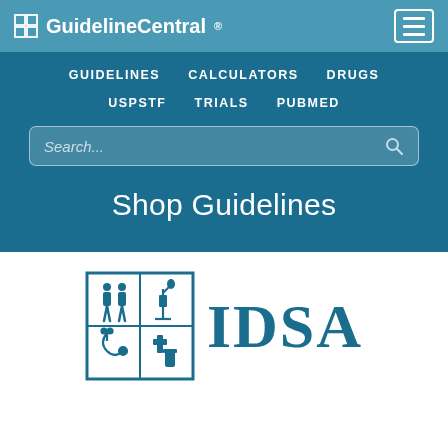GuidelineCentral®
GUIDELINES
CALCULATORS
DRUGS
USPSTF
TRIALS
PUBMED
Shop Guidelines
[Figure (logo): IDSA (Infectious Diseases Society of America) logo with a 2x2 grid of medical icons (people/figures, microscope, stethoscope, medical symbols) beside large blue 'IDSA' text]